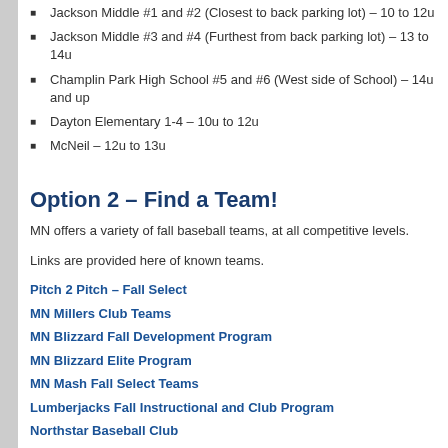Jackson Middle #1 and #2 (Closest to back parking lot) – 10 to 12u
Jackson Middle #3 and #4 (Furthest from back parking lot) – 13 to 14u
Champlin Park High School #5 and #6 (West side of School) – 14u and up
Dayton Elementary 1-4 – 10u to 12u
McNeil – 12u to 13u
Option 2 – Find a Team!
MN offers a variety of fall baseball teams, at all competitive levels.
Links are provided here of known teams.
Pitch 2 Pitch – Fall Select
MN Millers Club Teams
MN Blizzard Fall Development Program
MN Blizzard Elite Program
MN Mash Fall Select Teams
Lumberjacks Fall Instructional and Club Program
Northstar Baseball Club
MN Starters
Good Luck to you in Fall Baseball!
See you next Spring!